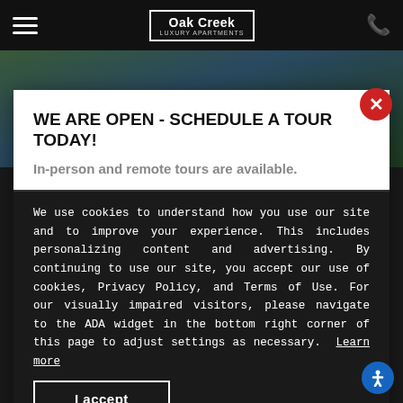[Figure (screenshot): Dark navigation bar with hamburger menu icon on left, Oak Creek Luxury Apartments logo in center, phone icon on right]
[Figure (photo): Exterior photo of apartment complex with trees and buildings visible]
WE ARE OPEN - SCHEDULE A TOUR TODAY!
In-person and remote tours are available.
We use cookies to understand how you use our site and to improve your experience. This includes personalizing content and advertising. By continuing to use our site, you accept our use of cookies, Privacy Policy, and Terms of Use. For our visually impaired visitors, please navigate to the ADA widget in the bottom right corner of this page to adjust settings as necessary. Learn more
I accept